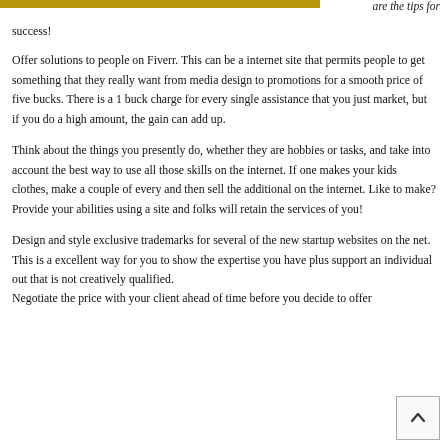are the tips for success!
Offer solutions to people on Fiverr. This can be a internet site that permits people to get something that they really want from media design to promotions for a smooth price of five bucks. There is a 1 buck charge for every single assistance that you just market, but if you do a high amount, the gain can add up.
Think about the things you presently do, whether they are hobbies or tasks, and take into account the best way to use all those skills on the internet. If one makes your kids clothes, make a couple of every and then sell the additional on the internet. Like to make? Provide your abilities using a site and folks will retain the services of you!
Design and style exclusive trademarks for several of the new startup websites on the net. This is a excellent way for you to show the expertise you have plus support an individual out that is not creatively qualified. Negotiate the price with your client ahead of time before you decide to offer